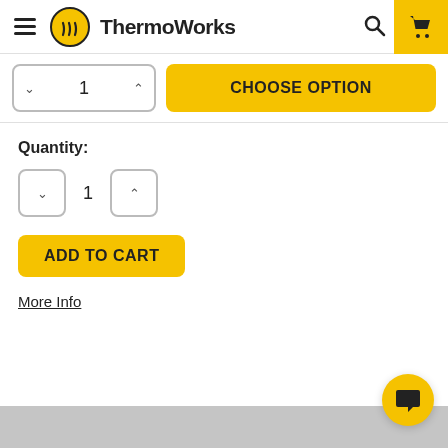ThermoWorks
CHOOSE OPTION
Quantity:
ADD TO CART
More Info